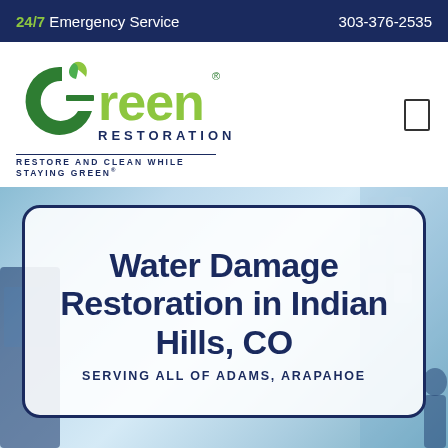24/7 Emergency Service   303-376-2535
[Figure (logo): Green Restoration logo with tagline: RESTORE AND CLEAN WHILE STAYING GREEN®]
Water Damage Restoration in Indian Hills, CO
SERVING ALL OF ADAMS, ARAPAHOE